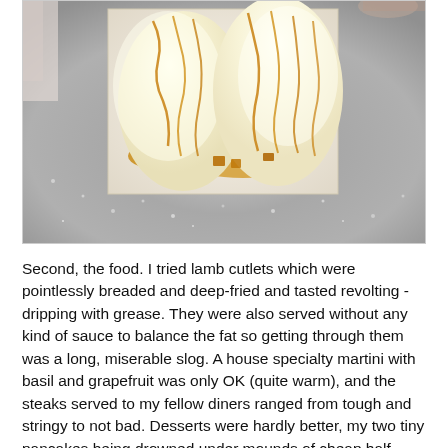[Figure (photo): A dessert plate with ice cream mounds drizzled with caramel sauce, served on a silver glitter square plate/board, on a table with a white tablecloth.]
Second, the food. I tried lamb cutlets which were pointlessly breaded and deep-fried and tasted revolting - dripping with grease. They were also served without any kind of sauce to balance the fat so getting through them was a long, miserable slog. A house specialty martini with basil and grapefruit was only OK (quite warm), and the steaks served to my fellow diners ranged from tough and stringy to not bad. Desserts were hardly better, my two tiny pancakes being drowned under mounds of cheap half-melted vanilla ice-